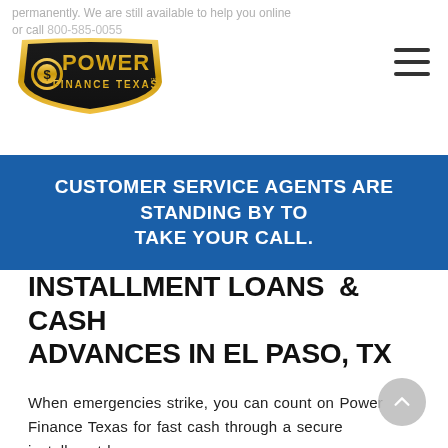permanently. We are still available to help you online or call 800-585-0055
[Figure (logo): Power Finance Texas logo — black shield shape with gold border, gold dollar-sign coin, gold text 'POWER' large, smaller text 'FINANCE TEXAS' with trademark symbol]
CUSTOMER SERVICE AGENTS ARE STANDING BY TO TAKE YOUR CALL.
INSTALLMENT LOANS & CASH ADVANCES IN EL PASO, TX
When emergencies strike, you can count on Power Finance Texas for fast cash through a secure installment loan.
We understand that you don't always have time for a long application with a lengthy approval process. At our